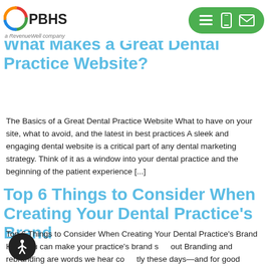PBHS — a RevenueWell company [nav: menu, mobile, email]
What Makes a Great Dental Practice Website?
The Basics of a Great Dental Practice Website What to have on your site, what to avoid, and the latest in best practices A sleek and engaging dental website is a critical part of any dental marketing strategy. Think of it as a window into your dental practice and the beginning of the patient experience [...]
Top 6 Things to Consider When Creating Your Dental Practice's Brand
Top 6 Things to Consider When Creating Your Dental Practice's Brand How you can make your practice's brand stand out Branding and rebranding are words we hear constantly these days—and for good reason. Research shows that more people (around 59%) choose a business that they are familiar with over one they don't know. After